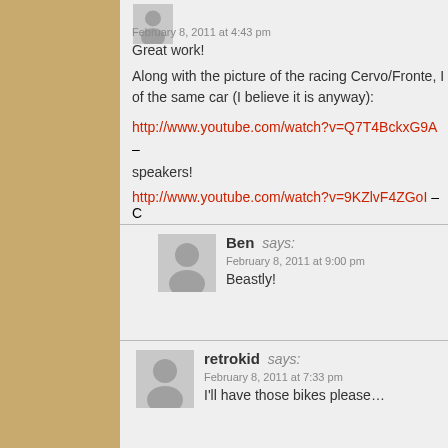February 8, 2011 at 4:43 pm
Great work!
Along with the picture of the racing Cervo/Fronte, I of the same car (I believe it is anyway):
http://www.youtube.com/watch?v=Q7T4BckxG9A – speakers!
http://www.youtube.com/watch?v=9KZlvF4ZGoI – C
Ben says:
February 8, 2011 at 9:00 pm
Beastly!
retrokid says:
February 8, 2011 at 7:33 pm
I'll have those bikes please…